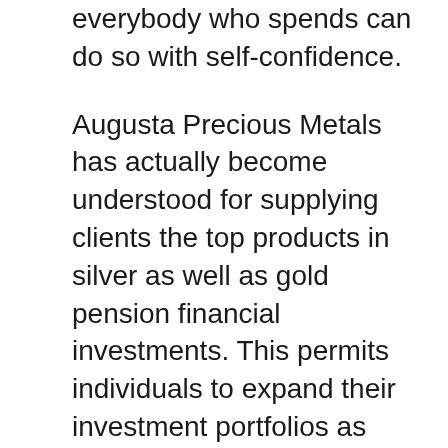everybody who spends can do so with self-confidence.
Augusta Precious Metals has actually become understood for supplying clients the top products in silver as well as gold pension financial investments. This permits individuals to expand their investment portfolios as well as circumvent issues with stock market dips. By setting up an Augusta Valuable Metals account, you receive the best support feasible from beginning to end. If you're uncertain regarding any kind of products, or desire to learn more about maximizing your pension plan funds, the employee are constantly available to help.
Best Way To Invest In Silver Canada